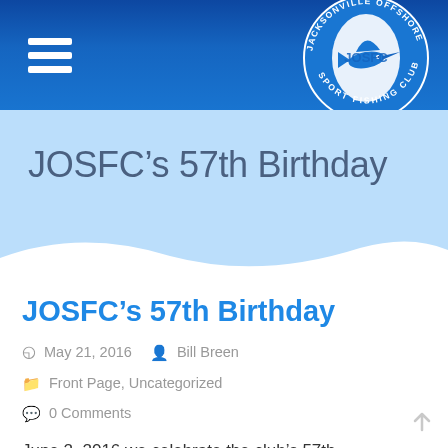[Figure (logo): Jacksonville Offshore Sport Fishing Club circular logo with a marlin/sailfish in blue and white, text around the circle reading JACKSONVILLE OFFSHORE SPORT FISHING CLUB with JOSFC in center]
JOSFC’s 57th Birthday
JOSFC’s 57th Birthday
May 21, 2016  Bill Breen  Front Page, Uncategorized  0 Comments
June 2, 2016 we celebrate the club’s 57th